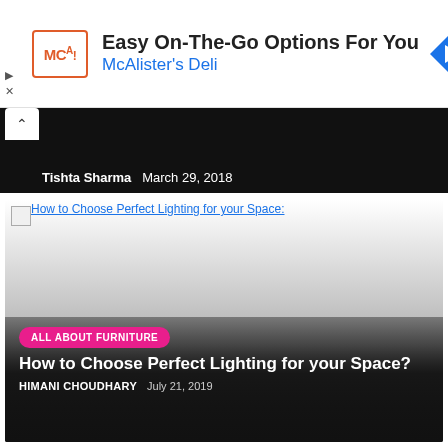[Figure (screenshot): McAlister's Deli advertisement banner with logo, headline 'Easy On-The-Go Options For You', and a blue navigation icon on the right]
Tishta Sharma   March 29, 2018
[Figure (photo): Article card for 'How to Choose Perfect Lighting for your Space?' with a broken image placeholder, category badge 'ALL ABOUT FURNITURE', article title, author HIMANI CHOUDHARY and date July 21, 2019]